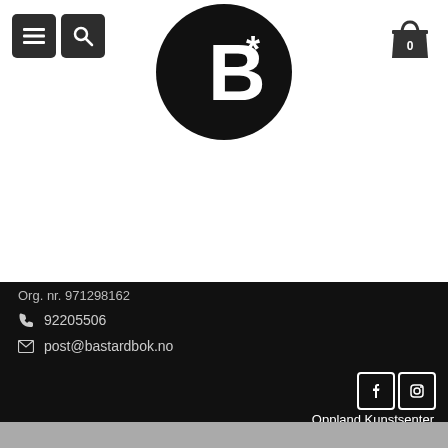[Figure (logo): Navigation bar with hamburger menu button and search button on left, shopping cart with '0' on right, white background]
[Figure (logo): B* logo — black circle with large white B and asterisk]
Org. nr. 971298162
92205506
post@bastardbok.no
[Figure (logo): Facebook and Instagram social media icons in white on black]
Oppland Kunstsenter
[Figure (logo): Klarna pink rounded rectangle logo with 'Klarna.' text]
[Figure (logo): Vipps logo in white with orange circular letter O]